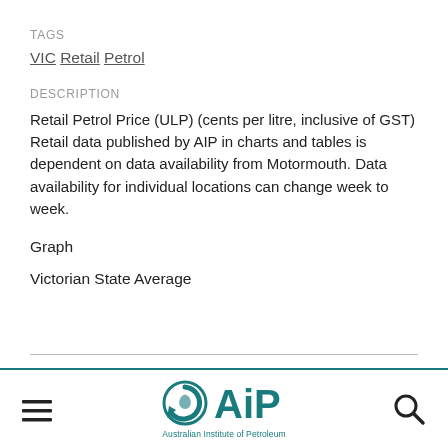TAGS
VIC Retail Petrol
DESCRIPTION
Retail Petrol Price (ULP) (cents per litre, inclusive of GST) Retail data published by AIP in charts and tables is dependent on data availability from Motormouth. Data availability for individual locations can change week to week.
Graph
Victorian State Average
[Figure (logo): Australian Institute of Petroleum (AIP) logo with circular arrow icon and AIP text, with subtitle 'Australian Institute of Petroleum']